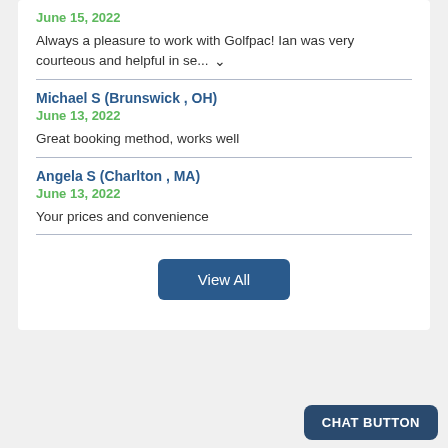June 15, 2022
Always a pleasure to work with Golfpac! Ian was very courteous and helpful in se…
Michael S (Brunswick , OH)
June 13, 2022
Great booking method, works well
Angela S (Charlton , MA)
June 13, 2022
Your prices and convenience
View All
CHAT BUTTON